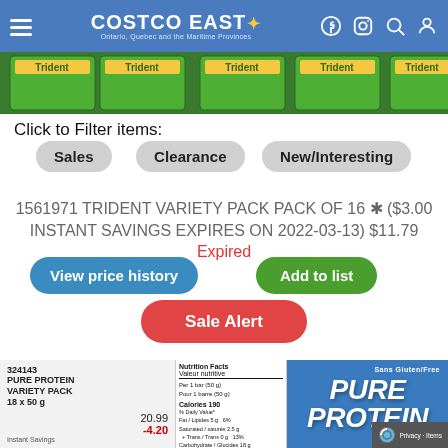COSTCO EAST — Ontario, Quebec and the Maritime Provinces
[Figure (photo): Row of Trident gum boxes on a store shelf, green packaging]
Click to Filter items:
Sales
Clearance
New/Interesting
1561971 TRIDENT VARIETY PACK PACK OF 16 ✱ ($3.00 INSTANT SAVINGS EXPIRES ON 2022-03-13) $11.79 Expired
View price history
Add to list
Sale Alert
[Figure (photo): Costco price tag showing 324143 PURE PROTEIN VARIETY PACK 18x50g, original price 20.99, savings -4.20, final price 16.79; nutrition facts panel; Pure Protein blue packaging with Sans Gluten/Free label]